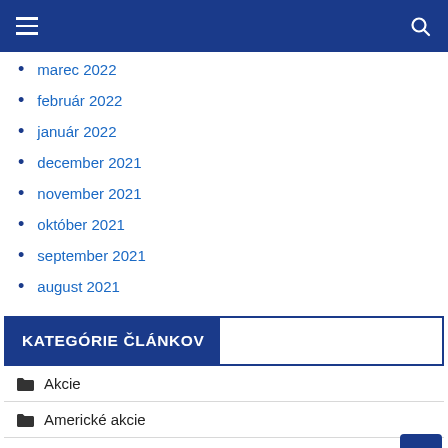Navigation header with hamburger menu and search icon
marec 2022
február 2022
január 2022
december 2021
november 2021
október 2021
september 2021
august 2021
KATEGÓRIE ČLÁNKOV
Akcie
Americké akcie
Banky